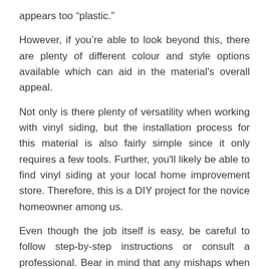appears too “plastic.”
However, if you’re able to look beyond this, there are plenty of different colour and style options available which can aid in the material's overall appeal.
Not only is there plenty of versatility when working with vinyl siding, but the installation process for this material is also fairly simple since it only requires a few tools. Further, you'll likely be able to find vinyl siding at your local home improvement store. Therefore, this is a DIY project for the novice homeowner among us.
Even though the job itself is easy, be careful to follow step-by-step instructions or consult a professional. Bear in mind that any mishaps when installing exterior materials could be costly.
If well maintained, vinyl can last up to forty years. However, bear in mind that this material doesn’t support